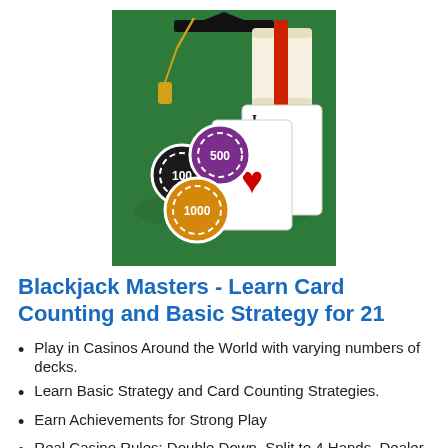[Figure (photo): Blackjack scene on a green casino table with casino chips (100, 500, 1000), playing cards showing an Ace of Hearts and Jack of Spades, a graduation cap with gold tassel, and a rolled diploma with red ribbon.]
Blackjack Masters - Learn Card Counting and Basic Strategy for 21
Play in Casinos Around the World with varying numbers of decks.
Learn Basic Strategy and Card Counting Strategies.
Earn Achievements for Strong Play
Real Casino Rules: Double Down, Split to 4 Hands, Dealer hits soft 17, Insurance Pays 2:1, Blackjack pays 3:2
No Annoying Ads! Play as long as you want